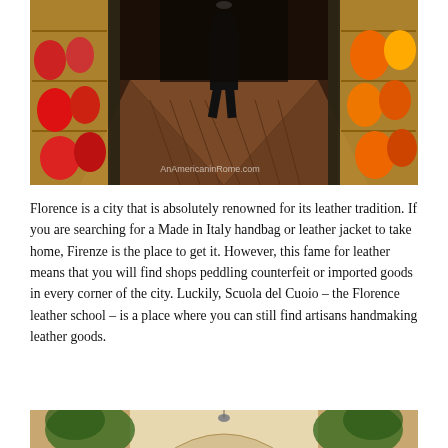[Figure (photo): Interior of a leather goods shop in Florence, showing a long corridor with herringbone terracotta tile floor, glass display cases on both sides filled with colorful handbags (red, orange, blue), and a person walking away in the background. Watermark reads 'AnAmericaninRome.com'.]
Florence is a city that is absolutely renowned for its leather tradition. If you are searching for a Made in Italy handbag or leather jacket to take home, Firenze is the place to get it. However, this fame for leather means that you will find shops peddling counterfeit or imported goods in every corner of the city. Luckily, Scuola del Cuoio – the Florence leather school – is a place where you can still find artisans handmaking leather goods.
[Figure (photo): Partial view of another interior space, possibly the leather school, with decorative plants and an archway visible at the bottom of the page.]